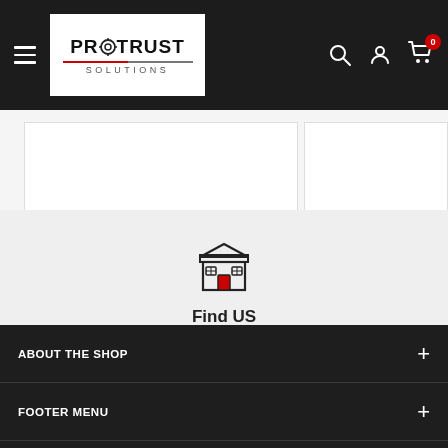[Figure (logo): ProTrust Solutions logo with navigation header on dark background. Includes hamburger menu, logo box, search icon, account icon, and cart icon with badge showing 0.]
[Figure (illustration): White product card areas partially visible]
[Figure (illustration): Store/shop icon — outline drawing of a market stall with awning and a red door]
Find US
The Mill House, Packington Hayes, Lichfield, WS14 9PN, United Kingdom
ABOUT THE SHOP
FOOTER MENU